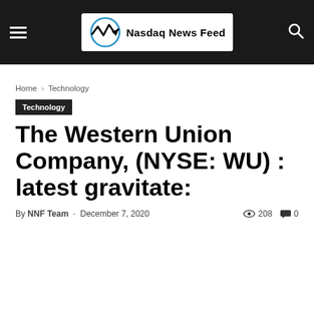Nasdaq News Feed
Home › Technology
Technology
The Western Union Company, (NYSE: WU) : latest gravitate:
By NNF Team - December 7, 2020  208  0